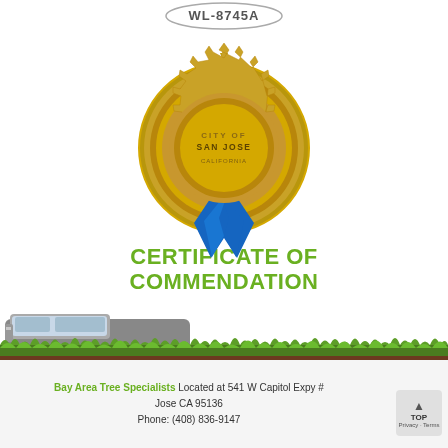[Figure (logo): WL-8745A license/certification badge oval at top]
[Figure (illustration): Gold medal/seal award with blue ribbons and text 'Certificate of Commendation' in green letters]
[Figure (photo): White commercial van on the left with green grass strip across the page]
HOME • ABOUT • BLOG • SERVICES • CONTACT • TESTIMONAILS • VIDEOS • COMMERCIAL SERVICES • SITEMAP • TREE REMOVAL •
Bay Area Tree Specialists Located at 541 W Capitol Expy # Jose CA 95136 Phone: (408) 836-9147